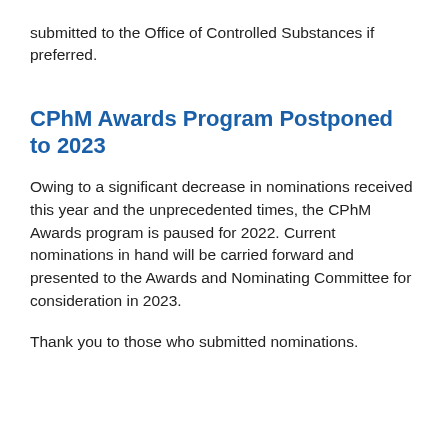submitted to the Office of Controlled Substances if preferred.
CPhM Awards Program Postponed to 2023
Owing to a significant decrease in nominations received this year and the unprecedented times, the CPhM Awards program is paused for 2022. Current nominations in hand will be carried forward and presented to the Awards and Nominating Committee for consideration in 2023.
Thank you to those who submitted nominations.